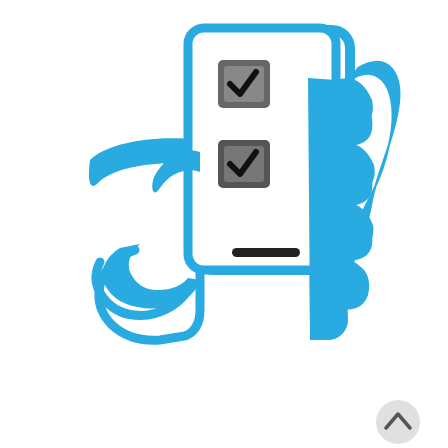[Figure (illustration): Blue line-art illustration of a hand holding a smartphone with two checked checkboxes visible on the screen. The hand grips the phone from the right side with fingers visible. Two checkbox icons with dark checkmarks are shown on the phone screen. A home button bar is at the bottom of the phone. A small circular scroll-to-top button with an upward arrow appears in the bottom-right corner of the image.]